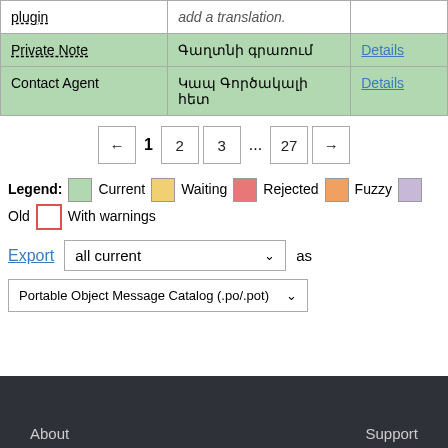| Source string | Translation | Action |
| --- | --- | --- |
| plugin | add a translation. |  |
| Private Note | Գաղտնի գրառում | Details |
| Contact Agent | Կապ Գործակալի հետ | Details |
← 1 2 3 ... 27 →
Legend: Current   Waiting   Rejected   Fuzzy   Old   With warnings
Export all current as Portable Object Message Catalog (.po/.pot)